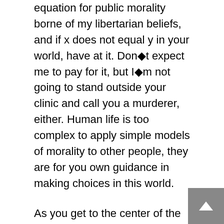equation for public morality borne of my libertarian beliefs, and if x does not equal y in your world, have at it. Don t expect me to pay for it, but I m not going to stand outside your clinic and call you a murderer, either. Human life is too complex to apply simple models of morality to other people, they are for you own guidance in making choices in this world.
As you get to the center of the human mental distribution, you find that most people have a mix of complex and simple models in their heads, but since most people can t keep track of more than 3 things at once, most people have 3-term models as their most complicated case. More than one standard deviation past the mean, and you begin to get to the intellectuals, or partial-intellectuals such as me. Models begin to get really complex (My